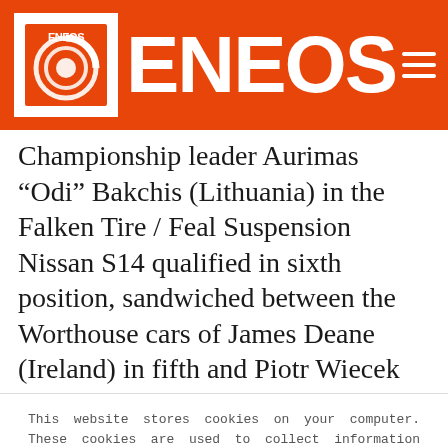ENEOS
Championship leader Aurimas “Odi” Bakchis (Lithuania) in the Falken Tire / Feal Suspension Nissan S14 qualified in sixth position, sandwiched between the Worthouse cars of James Deane (Ireland) in fifth and Piotr Wiecek (Poland) in
This website stores cookies on your computer. These cookies are used to collect information about how you interact with our website and allow us to remember you. We use this information in order to improve and customize your browsing experience and for analytics and metrics about our visitors both on this website and other media. To find out more about the cookies we use, see our Privacy Policy